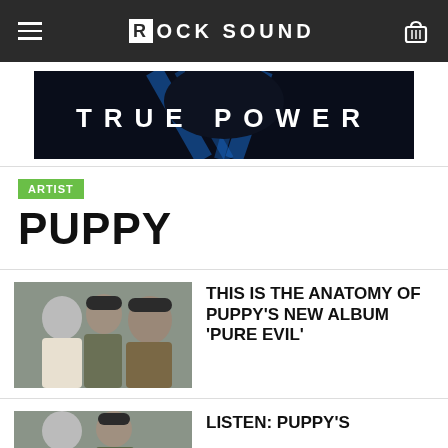Rock Sound
[Figure (illustration): Rock Sound TRUE POWER album banner advertisement with dark background and blue lightning/energy imagery]
ARTIST
PUPPY
[Figure (photo): Three men posing together for a band photo against a grey background]
THIS IS THE ANATOMY OF PUPPY'S NEW ALBUM 'PURE EVIL'
[Figure (photo): Band photo thumbnail partially visible at bottom of page]
LISTEN: PUPPY'S